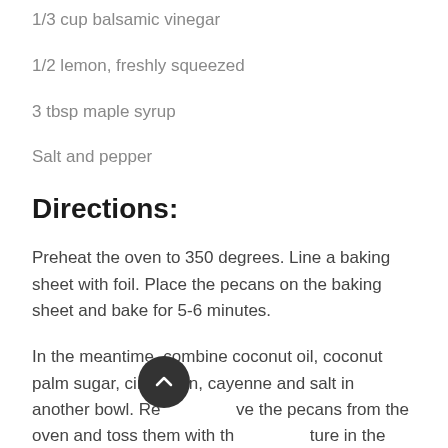1/3 cup balsamic vinegar
1/2 lemon, freshly squeezed
3 tbsp maple syrup
Salt and pepper
Directions:
Preheat the oven to 350 degrees. Line a baking sheet with foil. Place the pecans on the baking sheet and bake for 5-6 minutes.
In the meantime, combine coconut oil, coconut palm sugar, cinnamon, cayenne and salt in another bowl. Remove the pecans from the oven and toss them with the mixture in the bowl and spread the pecans back on the baking sheets. Continue to cook for another